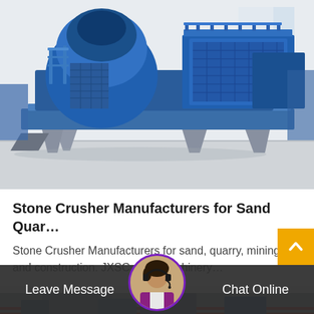[Figure (photo): Large blue industrial stone crusher / VSI sand making machine on a factory floor with grey epoxy flooring and warehouse background]
Stone Crusher Manufacturers for Sand Quar…
Stone Crusher Manufacturers for sand, quarry, mining, and construction. JXSC mine machinery…
[Figure (photo): Partial view of industrial machinery / second product card partially visible]
Leave Message
Chat Online